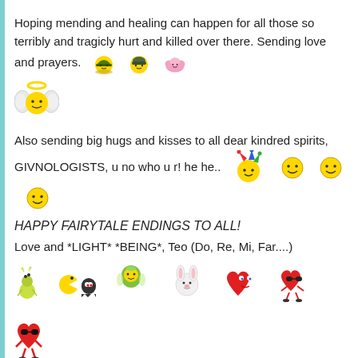Hoping mending and healing can happen for all those so terribly and tragicly hurt and killed over there. Sending love and prayers. [emoji: hat face, soldier face, pink cloud angel]
[Figure (illustration): Angel smiley face emoji with halo and wings]
Also sending big hugs and kisses to all dear kindred spirits, GIVNOLOGISTS, u no who u r! he he.. [emoji: jester face, smiley, smiley, smiley]
HAPPY FAIRYTALE ENDINGS TO ALL!
Love and *LIGHT* *BEING*, Teo (Do, Re, Mi, Far....)
[Figure (illustration): Row of pixel-art emoji characters: caterpillar, pacman ghost, fairy, bunny, red heart with eyes, cool heart character, red cool heart character]